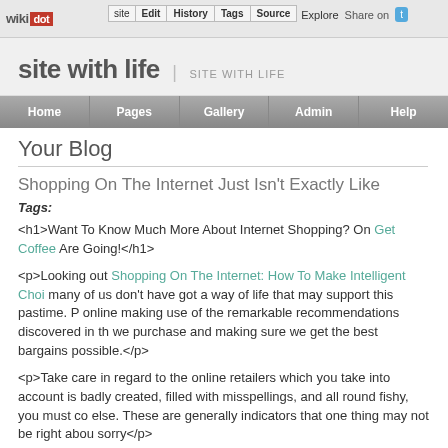wikidot | site Edit History Tags Source Explore Share on
site with life | SITE WITH LIFE
Home Pages Gallery Admin Help
Your Blog
Shopping On The Internet Just Isn't Exactly Like
Tags:
<h1>Want To Know Much More About Internet Shopping? On Get Coffee Are Going!</h1>
<p>Looking out Shopping On The Internet: How To Make Intelligent Choi many of us don't have got a way of life that may support this pastime. P online making use of the remarkable recommendations discovered in th we purchase and making sure we get the best bargains possible.</p>
<p>Take care in regard to the online retailers which you take into account is badly created, filled with misspellings, and all round fishy, you must co else. These are generally indicators that one thing may not be right abou sorry</p>